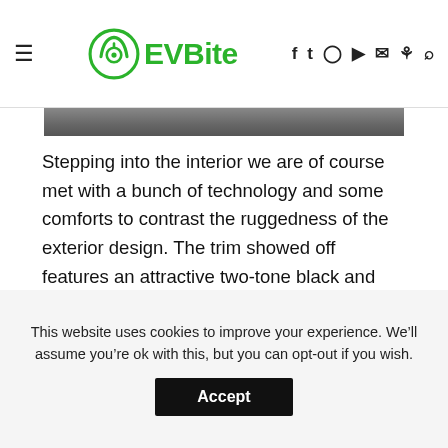EVBite
[Figure (photo): Partial view of a grayscale photo strip at the top of the article]
Stepping into the interior we are of course met with a bunch of technology and some comforts to contrast the ruggedness of the exterior design. The trim showed off features an attractive two-tone black and light grey color scheme with nice copper accents on some doors and dashboard pieces. GM states that “Intergalactic travel and otherworldly landscapes” were the inspiration for this ‘Lunar Horizon’ color
This website uses cookies to improve your experience. We’ll assume you’re ok with this, but you can opt-out if you wish.
Accept